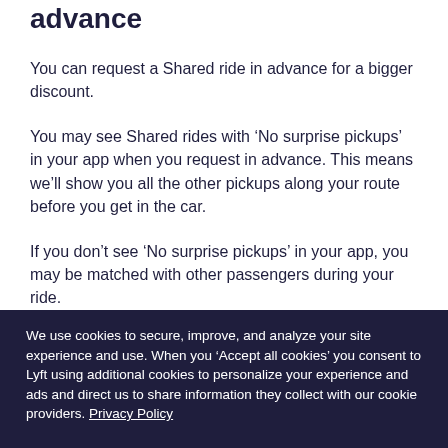advance
You can request a Shared ride in advance for a bigger discount.
You may see Shared rides with ‘No surprise pickups’ in your app when you request in advance. This means we’ll show you all the other pickups along your route before you get in the car.
If you don’t see ‘No surprise pickups’ in your app, you may be matched with other passengers during your ride.
We use cookies to secure, improve, and analyze your site experience and use. When you ‘Accept all cookies’ you consent to Lyft using additional cookies to personalize your experience and ads and direct us to share information they collect with our cookie providers. Privacy Policy